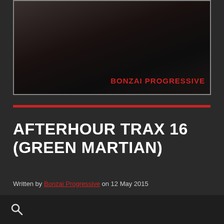[Figure (photo): Dark atmospheric photo with 'BONZAI PROGRESSIVE' text overlay in red]
AFTERHOUR TRAX 16 (GREEN MARTIAN)
Written by Bonzai Progressive on 12 May 2015
Afterhour Trax 16 delivers 20 of the finest progressive cuts in one package from top labels such as Bonzai